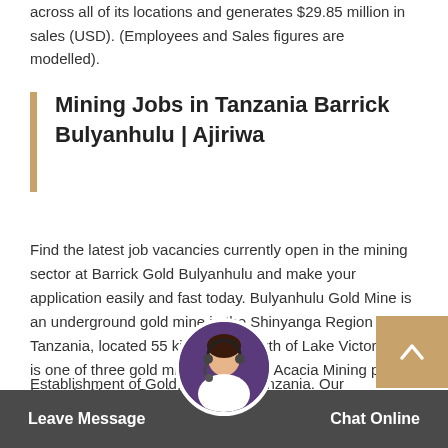across all of its locations and generates $29.85 million in sales (USD). (Employees and Sales figures are modelled).
Mining Jobs in Tanzania Barrick Bulyanhulu | Ajiriwa
Find the latest job vacancies currently open in the mining sector at Barrick Gold Bulyanhulu and make your application easily and fast today. Bulyanhulu Gold Mine is an underground gold mine in the Shinyanga Region of Tanzania, located 55 kilometres south of Lake Victoria. It is one of three gold mines owned by Acacia Mining plc, formerly African Barrick Gold
Establishment of Gold Trading in Tanzania. Our comp GOLDIYANTU B is since business of gold and diamonds. We have financed the creation of the program